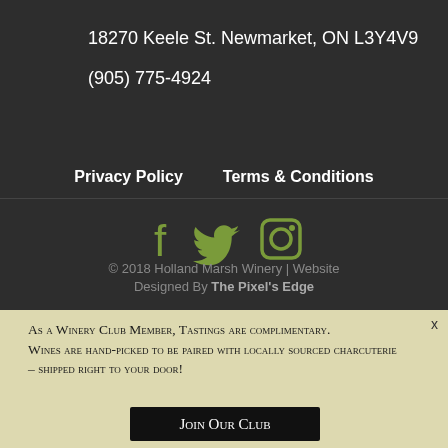18270 Keele St. Newmarket, ON L3Y4V9
(905) 775-4924
Privacy Policy    Terms & Conditions
[Figure (illustration): Social media icons: Facebook, Twitter, Instagram in olive/green color]
© 2018 Holland Marsh Winery | Website Designed By The Pixel's Edge
As a Winery Club Member, Tastings are complimentary. Wines are hand-picked to be paired with locally sourced charcuterie – shipped right to your door!
Join Our Club